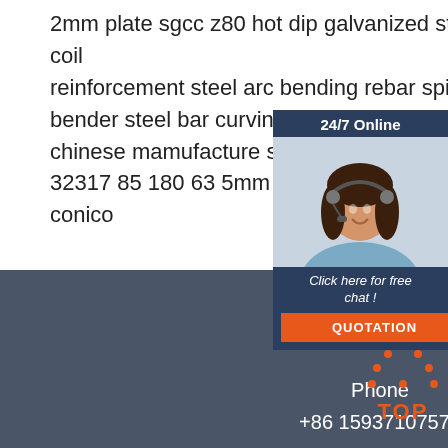2mm plate sgcc z80 hot dip galvanized steel coil
reinforcement steel arc bending rebar spiral bender steel bar curving
chinese mamufacture supplier rolam 32317 85 180 63 5mm rolamentos r conico
[Figure (photo): Customer service representative wearing headset, smiling. Chat widget with '24/7 Online' header, 'Click here for free chat!' text, and orange QUOTATION button.]
Tel
+86 15937107570

Phone
+86 15937107570

Fax
[Figure (illustration): Orange dots arranged in triangle/arch shape above text 'TOP' in orange with dot accents]